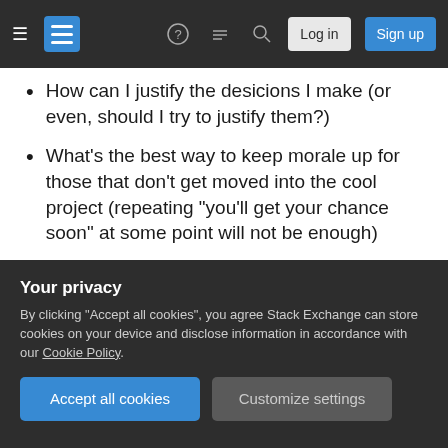Stack Exchange navigation bar with hamburger menu, logo, help, chat, search icons, Log in and Sign up buttons
How can I justify the desicions I make (or even, should I try to justify them?)
What's the best way to keep morale up for those that don't get moved into the cool project (repeating "you'll get your chance soon" at some point will not be enough)
I have thought of doing small quizes so that I can pickup who's in the best shape or have at least the most knowledge needed for the "cool" project (which kinda gives me some justifications for my
Any advice would be highly appreciated.
Your privacy
By clicking "Accept all cookies", you agree Stack Exchange can store cookies on your device and disclose information in accordance with our Cookie Policy.
Accept all cookies  Customize settings